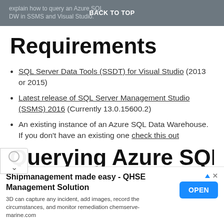explain how to query an Azure SQL DW in SSMS and Visual Studio.  BACK TO TOP
Requirements
SQL Server Data Tools (SSDT) for Visual Studio (2013 or 2015)
Latest release of SQL Server Management Studio (SSMS) 2016 (Currently 13.0.15600.2)
An existing instance of an Azure SQL Data Warehouse. If you don't have an existing one check this out
Querying Azure SQL
[Figure (other): Advertisement banner: Shipmanagement made easy - QHSE Management Solution. 3D can capture any incident, add images, record the circumstances, and monitor remediation chemserve-marine.com. OPEN button.]